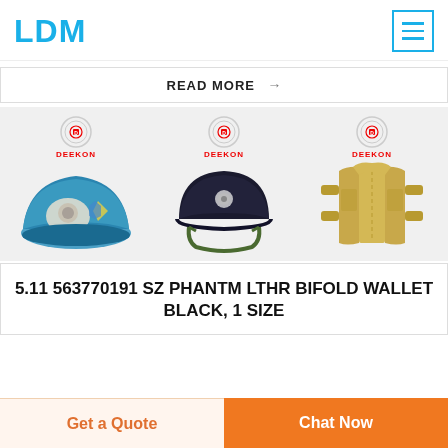LDM
READ MORE →
[Figure (photo): Three military/tactical product images with Deekon branding: a blue beret with badge, a dark ballistic helmet with chin strap, and a tan/khaki body armor vest]
5.11 563770191 SZ PHANTM LTHR BIFOLD WALLET BLACK, 1 SIZE
Get a Quote
Chat Now